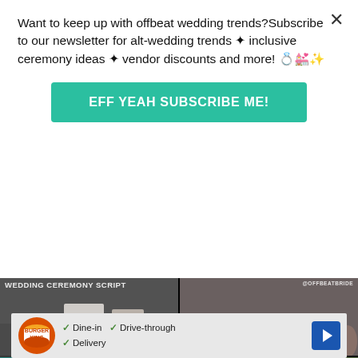Want to keep up with offbeat wedding trends?Subscribe to our newsletter for alt-wedding trends ✦ inclusive ceremony ideas ✦ vendor discounts and more! 💍💒✨
EFF YEAH SUBSCRIBE ME!
[Figure (photo): Four photo grid: top-left shows wedding ceremony script text with @OFFBEATBRIDE watermark, top-right shows crowd at wedding ceremony with @OFFBEATBRIDE watermark, bottom-left shows vintage pin curl tutorial image with teal background, bottom-right shows father-daughter dance at outdoor wedding with string lights]
[Figure (infographic): Burger King advertisement banner showing logo, checkmarks for Dine-in, Drive-through, and Delivery options, with a blue navigation arrow icon]